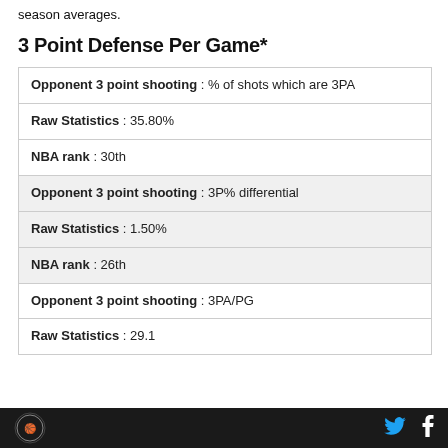season averages.
3 Point Defense Per Game*
| Opponent 3 point shooting : % of shots which are 3PA |
| Raw Statistics : 35.80% |
| NBA rank : 30th |
| Opponent 3 point shooting : 3P% differential |
| Raw Statistics : 1.50% |
| NBA rank : 26th |
| Opponent 3 point shooting : 3PA/PG |
| Raw Statistics : 29.1 |